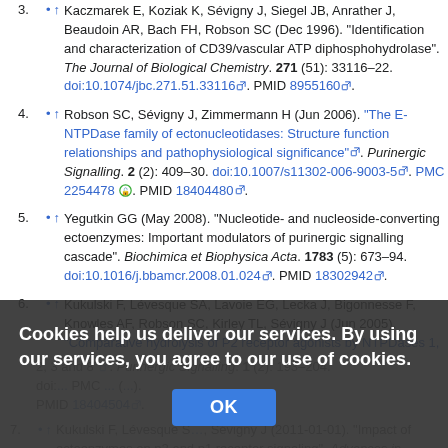3. Kaczmarek E, Koziak K, Sévigny J, Siegel JB, Anrather J, Beaudoin AR, Bach FH, Robson SC (Dec 1996). "Identification and characterization of CD39/vascular ATP diphosphohydrolase". The Journal of Biological Chemistry. 271 (51): 33116–22. doi:10.1074/jbc.271.51.33116. PMID 8955160.
4. Robson SC, Sévigny J, Zimmermann H (Jun 2006). "The E-NTPDase family of ectonucleotidases: Structure function relationships and pathophysiological significance". Purinergic Signalling. 2 (2): 409–30. doi:10.1007/s11302-006-9003-5. PMC 2254478. PMID 18404480.
5. Yegutkin GG (May 2008). "Nucleotide- and nucleoside-converting ectoenzymes: Important modulators of purinergic signalling cascade". Biochimica et Biophysica Acta. 1783 (5): 673–94. doi:10.1016/j.bbamcr.2008.01.024. PMID 18302942.
6. Kukulski F, Lévesque SA, Lavoie EG, Lecka J, Bigonnesse F, Knowles AF, Robson SC, Kirley TL, Sévigny J (Jun 2005). "Comparative hydrolysis of P2 receptor agonists by NTPDases 1, 2, 3 and 8". Purinergic Signalling. 1 (2): 193–204. doi:... PMC ... PMID 18404504.
7. Kukulski F, Lévesque S..., Sévigny J (2011-01-01). "Impact of ectoenzymes on p2 and p1 receptor signaling". Advances in...
Cookies help us deliver our services. By using our services, you agree to our use of cookies.